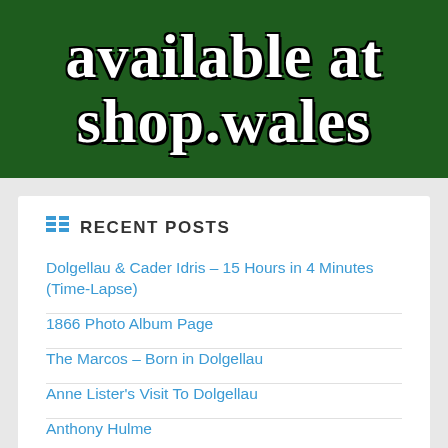[Figure (illustration): Green banner with white bold serif text reading 'available at shop.wales' with black text shadow outline effect]
RECENT POSTS
Dolgellau & Cader Idris – 15 Hours in 4 Minutes (Time-Lapse)
1866 Photo Album Page
The Marcos – Born in Dolgellau
Anne Lister's Visit To Dolgellau
Anthony Hulme
Precipice Walk